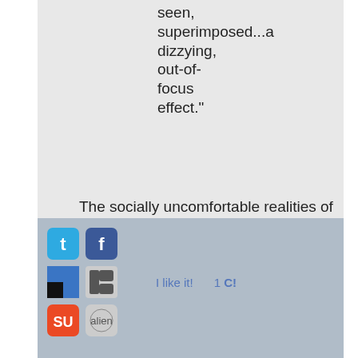seen, superimposed...a dizzying, out-of-focus effect."
The socially uncomfortable realities of the blurred worlds between adolescence and adulthood and that line where sexuality is drawn is never more implicit than in this book. Pera moves us back and forth on the pendulum of little girl innocence and big girl desires in the flesh of one Lolita.
[Figure (screenshot): Social sharing bar with Twitter, Facebook, Delicious, Digg, StumbleUpon, Reddit icons, and 'I like it! 1 C!' text]